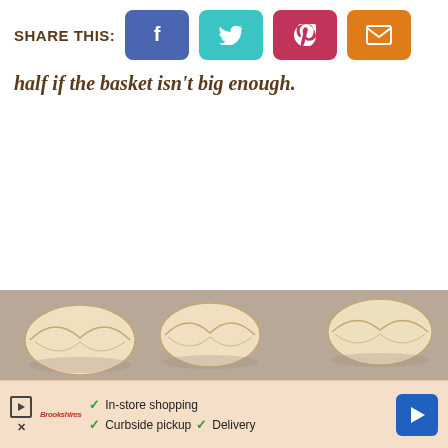SHARE THIS:
[Figure (infographic): Social share buttons: Facebook (blue), Twitter (teal), Pinterest (pink/red), Email (orange)]
half if the basket isn't big enough.
[Figure (photo): Overhead photo of dumplings/wontons on a grey surface]
[Figure (infographic): Advertisement bar: play button, X button, Brookshires logo, checkmarks for In-store shopping, Curbside pickup, Delivery, blue navigation arrow button]